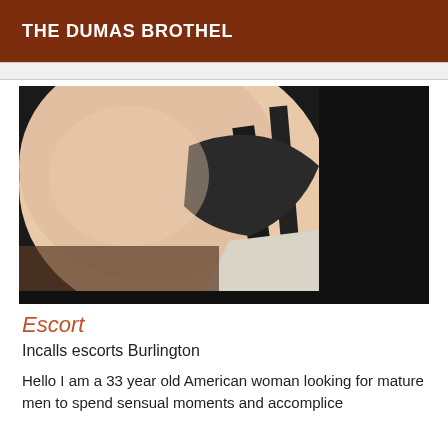THE DUMAS BROTHEL
[Figure (photo): Close-up photograph showing a person wearing black lingerie against a dark background]
Escort
Incalls escorts Burlington
Hello I am a 33 year old American woman looking for mature men to spend sensual moments and accomplice